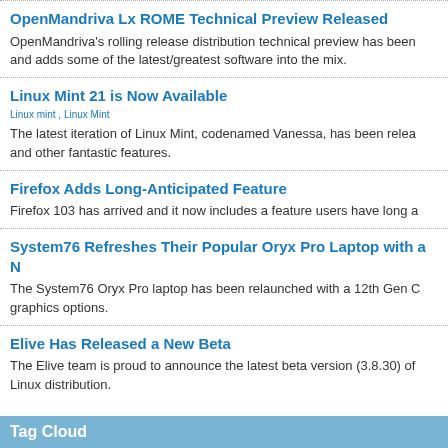OpenMandriva Lx ROME Technical Preview Released
OpenMandriva's rolling release distribution technical preview has been and adds some of the latest/greatest software into the mix.
Linux Mint 21 is Now Available
Linux mint , Linux Mint
The latest iteration of Linux Mint, codenamed Vanessa, has been relea and other fantastic features.
Firefox Adds Long-Anticipated Feature
Firefox 103 has arrived and it now includes a feature users have long a
System76 Refreshes Their Popular Oryx Pro Laptop with a N
The System76 Oryx Pro laptop has been relaunched with a 12th Gen C graphics options.
Elive Has Released a New Beta
The Elive team is proud to announce the latest beta version (3.8.30) of Linux distribution.
Tag Cloud